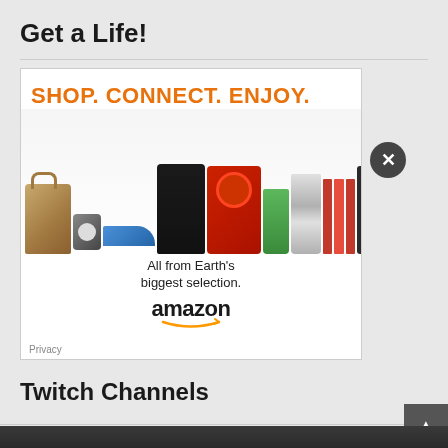Get a Life!
[Figure (other): Amazon advertisement banner showing various products (bag, shoes, gaming console, stand mixer, smoothie, shaker set, books, Kindle, Blu-ray) with text 'SHOP. CONNECT. ENJOY.' in orange and 'All from Earth’s biggest selection.' with amazon logo below]
Privacy
Twitch Channels